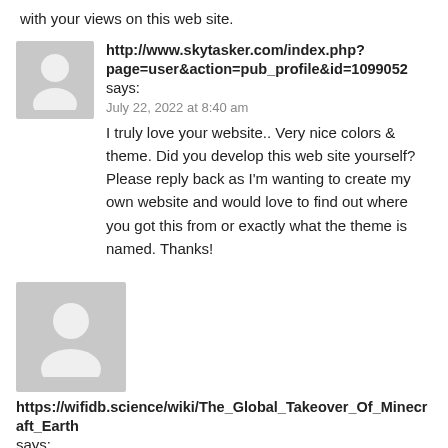with your views on this web site.
http://www.skytasker.com/index.php?page=user&action=pub_profile&id=1099052 says:
July 22, 2022 at 8:40 am
I truly love your website.. Very nice colors & theme. Did you develop this web site yourself?
Please reply back as I'm wanting to create my own website and would love to find out where you got this from or exactly what the theme is named. Thanks!
https://wifidb.science/wiki/The_Global_Takeover_Of_Minecraft_Earth says:
July 22, 2022 at 8:46 am
It's amazing to go to see this website and reading the